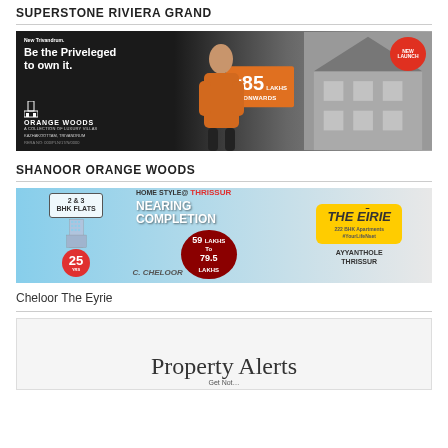SUPERSTONE RIVIERA GRAND
[Figure (photo): Advertisement banner for Shanoor Orange Woods luxury villas in Kazhakoottam, Trivandrum. Black background with woman model, price ₹85 Lakhs Onwards, New Launch badge.]
SHANOOR ORANGE WOODS
[Figure (photo): Advertisement banner for Cheloor The Eyrie apartments in Ayyanthole, Thrissur. 2 & 3 BHK Flats, Nearing Completion, 59 Lakhs to 79.5 Lakhs, Home Style @ Thrissur, 25 years badge.]
Cheloor The Eyrie
Property Alerts
Get Nots...